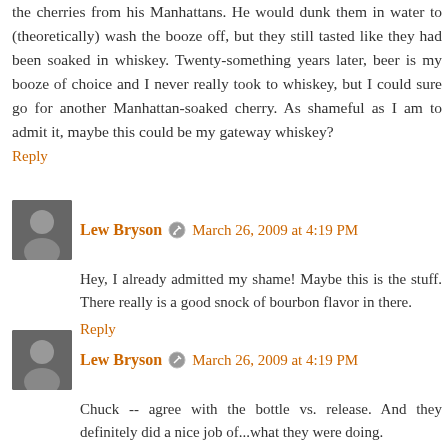the cherries from his Manhattans. He would dunk them in water to (theoretically) wash the booze off, but they still tasted like they had been soaked in whiskey. Twenty-something years later, beer is my booze of choice and I never really took to whiskey, but I could sure go for another Manhattan-soaked cherry. As shameful as I am to admit it, maybe this could be my gateway whiskey?
Reply
Lew Bryson  March 26, 2009 at 4:19 PM
Hey, I already admitted my shame! Maybe this is the stuff. There really is a good snock of bourbon flavor in there.
Reply
Lew Bryson  March 26, 2009 at 4:19 PM
Chuck -- agree with the bottle vs. release. And they definitely did a nice job of...what they were doing.

Bitters, huh?